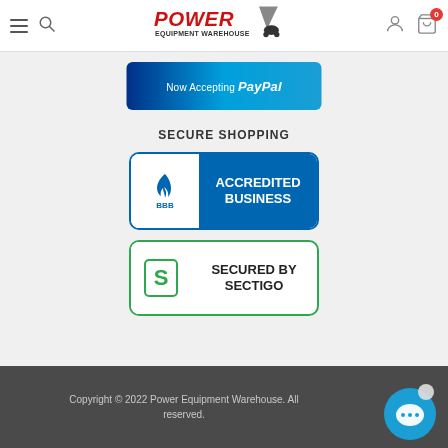Power Equipment Warehouse - navigation header with logo, hamburger menu, search, account, and cart icons
[Figure (logo): Now Accepting PayPal banner - blue gradient background with PayPal logo text]
SECURE SHOPPING
[Figure (logo): BBB Accredited Business badge - white left side with BBB flame logo, blue right side with ACCREDITED BUSINESS text]
[Figure (logo): Secured by Sectigo badge - white background with green S logo and SECURED BY SECTIGO text]
Copyright © 2022 Power Equipment Warehouse. All reserved.